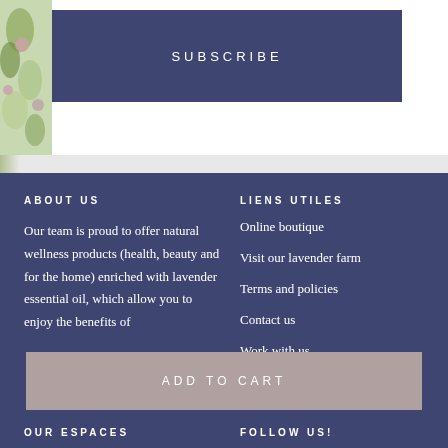[Figure (illustration): Floral/botanical illustration on the left side of the top section]
SUBSCRIBE
ABOUT US
Our team is proud to offer natural wellness products (health, beauty and for the home) enriched with lavender essential oil, which allow you to enjoy the benefits of
LIENS UTILES
Online boutique
Visit our lavender farm
Terms and policies
Contact us
Work with us
ADD TO CART
OUR ESPACES
FOLLOW US!